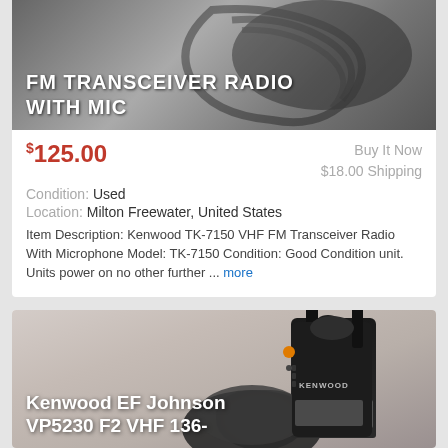[Figure (photo): Product photo of FM Transceiver Radio with mic/coiled cord, overlaid with white uppercase text title 'FM TRANSCEIVER RADIO WITH MIC']
$125.00
Buy It Now
$18.00 Shipping
Condition: Used
Location: Milton Freewater, United States
Item Description: Kenwood TK-7150 VHF FM Transceiver Radio With Microphone Model: TK-7150 Condition: Good Condition unit. Units power on no other further ... more
[Figure (photo): Product photo of Kenwood EF Johnson VP5230 F2 VHF 136- handheld radio, dark device with orange button and KENWOOD label, with black pouch/bag in front, overlaid with white text title starting 'Kenwood EF Johnson VP5230 F2 VHF 136-']